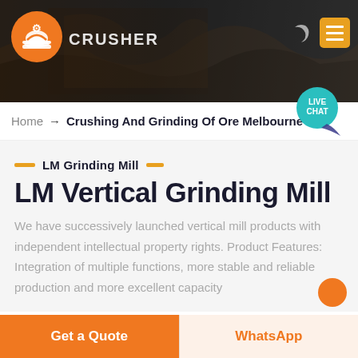[Figure (photo): Dark industrial header banner with mining/crusher machinery in background, orange logo on left, menu icons on right]
Home → Crushing And Grinding Of Ore Melbourne
LM Grinding Mill
LM Vertical Grinding Mill
We have successively launched vertical mill products with independent intellectual property rights. Product Features: Integration of multiple functions, more stable and reliable production and more excellent capacity
Get a Quote
WhatsApp